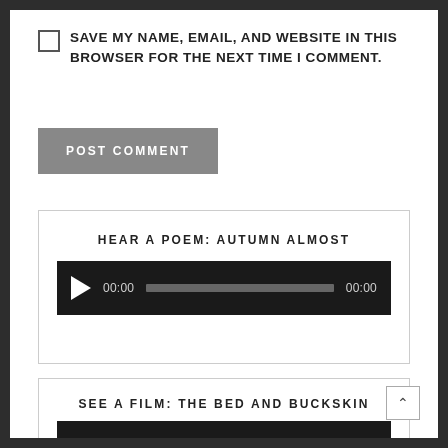SAVE MY NAME, EMAIL, AND WEBSITE IN THIS BROWSER FOR THE NEXT TIME I COMMENT.
POST COMMENT
HEAR A POEM: AUTUMN ALMOST
[Figure (other): Audio player with play button, timestamp 00:00, progress bar, and duration 00:00 on dark background]
SEE A FILM: THE BED AND BUCKSKIN
[Figure (other): Video player bar on dark background, partially visible]